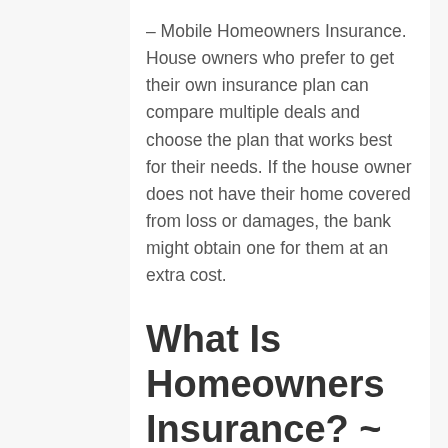– Mobile Homeowners Insurance. House owners who prefer to get their own insurance plan can compare multiple deals and choose the plan that works best for their needs. If the house owner does not have their home covered from loss or damages, the bank might obtain one for them at an extra cost.
What Is Homeowners Insurance? ~ What Does It Cover? – Geico